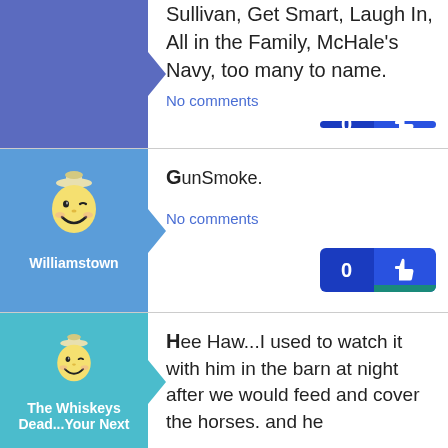Sullivan, Get Smart, Laugh In, All in the Family, McHale's Navy, too many to name.
No comments
[Figure (illustration): Williamstown user avatar with winking smiley face mascot on blue background]
GunSmoke.
No comments
[Figure (illustration): The Whiskeys Dead...Your Next user avatar with winking smiley face mascot on teal background]
Hee Haw...I used to watch it with him in the barn at night after we would feed and cover the horses. and he